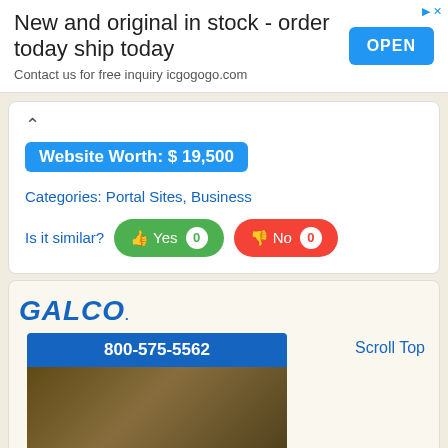[Figure (screenshot): Ad banner: 'New and original in stock - order today ship today. Contact us for free inquiry icgogogo.com' with blue OPEN button]
Website Worth: $ 19,500
Categories: Portal Sites, Business
Is it similar? Yes 0  No 0
[Figure (screenshot): Galco advertisement showing logo, phone number 800-575-5562, and Lovato RFE product image. Scroll Top link visible.]